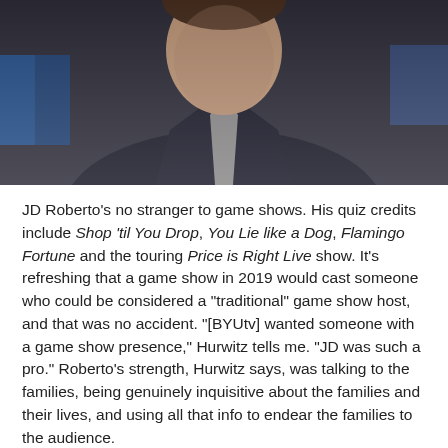[Figure (photo): A man in a dark suit and grey shirt photographed from chest up, with blue studio lighting visible in the background.]
JD Roberto's no stranger to game shows. His quiz credits include Shop 'til You Drop, You Lie like a Dog, Flamingo Fortune and the touring Price is Right Live show. It's refreshing that a game show in 2019 would cast someone who could be considered a "traditional" game show host, and that was no accident. "[BYUtv] wanted someone with a game show presence," Hurwitz tells me. "JD was such a pro." Roberto's strength, Hurwitz says, was talking to the families, being genuinely inquisitive about the families and their lives, and using all that info to endear the families to the audience.
The bonus round feels a lot like a simplified version of the History IQ Timeline Bonus Round: 7 years are shown to the winning team, with two events attached to each year, the team must determine which event happened in every